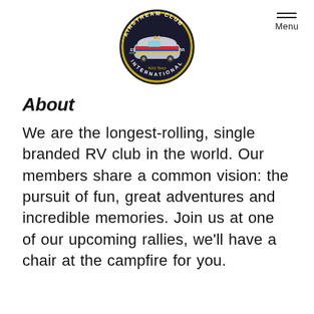[Figure (logo): Airstream Club International circular badge logo with colorful trailer graphic, EST 1955]
Menu
About
We are the longest-rolling, single branded RV club in the world. Our members share a common vision: the pursuit of fun, great adventures and incredible memories. Join us at one of our upcoming rallies, we'll have a chair at the campfire for you.